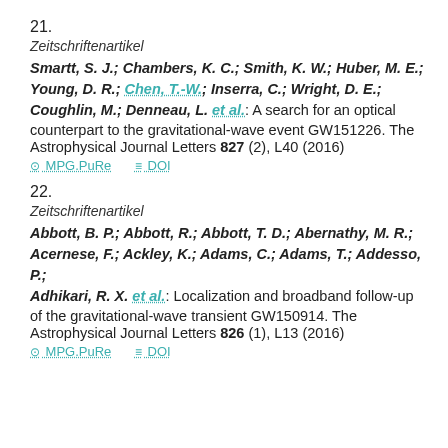21.
Zeitschriftenartikel
Smartt, S. J.; Chambers, K. C.; Smith, K. W.; Huber, M. E.; Young, D. R.; Chen, T.-W.; Inserra, C.; Wright, D. E.; Coughlin, M.; Denneau, L. et al.: A search for an optical counterpart to the gravitational-wave event GW151226. The Astrophysical Journal Letters 827 (2), L40 (2016)
MPG.PuRe   DOI
22.
Zeitschriftenartikel
Abbott, B. P.; Abbott, R.; Abbott, T. D.; Abernathy, M. R.; Acernese, F.; Ackley, K.; Adams, C.; Adams, T.; Addesso, P.; Adhikari, R. X. et al.: Localization and broadband follow-up of the gravitational-wave transient GW150914. The Astrophysical Journal Letters 826 (1), L13 (2016)
MPG.PuRe   DOI